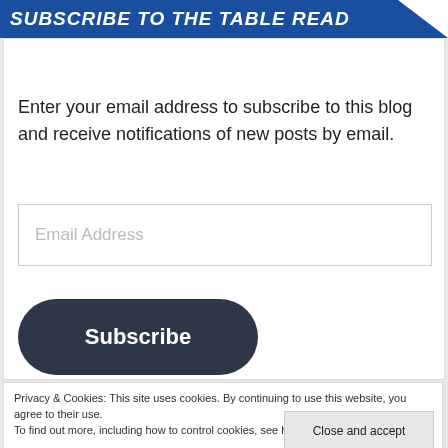SUBSCRIBE TO THE TABLE READ
Enter your email address to subscribe to this blog and receive notifications of new posts by email.
Email Address
Subscribe
Privacy & Cookies: This site uses cookies. By continuing to use this website, you agree to their use.
To find out more, including how to control cookies, see here: Cookie Policy
Close and accept
Translate »